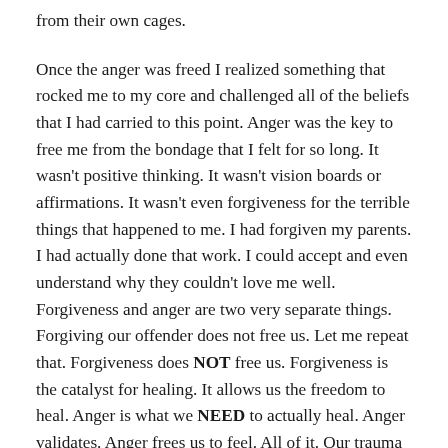from their own cages.
Once the anger was freed I realized something that rocked me to my core and challenged all of the beliefs that I had carried to this point. Anger was the key to free me from the bondage that I felt for so long. It wasn't positive thinking. It wasn't vision boards or affirmations. It wasn't even forgiveness for the terrible things that happened to me. I had forgiven my parents. I had actually done that work. I could accept and even understand why they couldn't love me well. Forgiveness and anger are two very separate things. Forgiving our offender does not free us. Let me repeat that. Forgiveness does NOT free us. Forgiveness is the catalyst for healing. It allows us the freedom to heal. Anger is what we NEED to actually heal. Anger validates. Anger frees us to feel. All of it. Our trauma is real and our wounds are deep. They are open and oozing. They are infected with fear, feelings of unworthiness, and shame. Anger is the salve needed to heal these wounds. We have